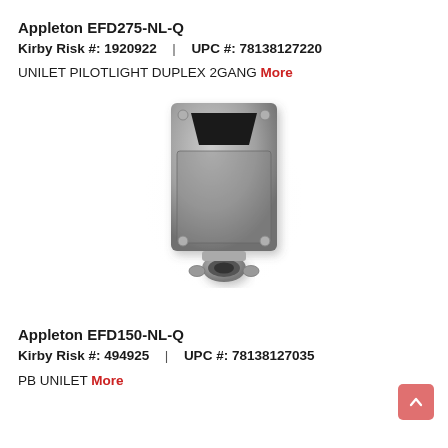Appleton EFD275-NL-Q
Kirby Risk #: 1920922  |  UPC #: 78138127220
UNILET PILOTLIGHT DUPLEX 2GANG More
[Figure (photo): Grayscale photo of Appleton EFD275-NL-Q unilet pilotlight duplex 2-gang electrical fitting, showing a rectangular metal box with beveled opening at top and a conduit hub at the bottom.]
Appleton EFD150-NL-Q
Kirby Risk #: 494925  |  UPC #: 78138127035
PB UNILET More